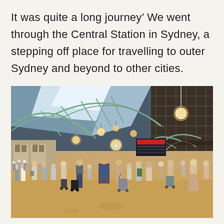It was quite a long journey’ We went through the Central Station in Sydney, a stepping off place for travelling to outer Sydney and beyond to other cities.
[Figure (photo): Interior photograph of Central Station in Sydney, Australia. The image shows the grand concourse with its iconic arched iron and glass roof structure painted in green/teal. The station is busy with many travellers walking across the shiny tiled floor, many carrying luggage and backpacks. Pendant lights hang from the ceiling. A large departure board is visible in the background. The architectural ironwork arches are visible on the right side.]